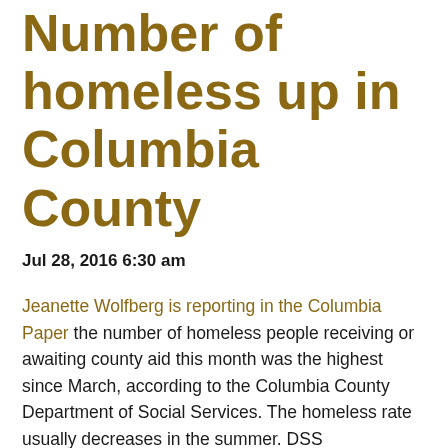Number of homeless up in Columbia County
Jul 28, 2016 6:30 am
Jeanette Wolfberg is reporting in the Columbia Paper the number of homeless people receiving or awaiting county aid this month was the highest since March, according to the Columbia County Department of Social Services. The homeless rate usually decreases in the summer. DSS Commissioner Kary Jablonka told the county Board of Supervisors Human Services Committee last week that tackling the homeless issue is a priority for his agency. According to the records maintained